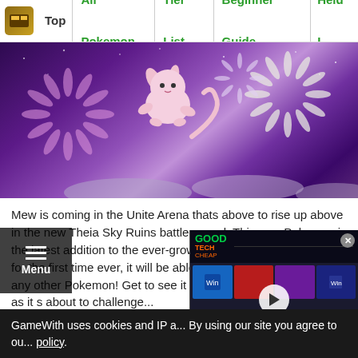Top | All Pokemon | Tier List | Beginner Guide | Held I...
[Figure (illustration): Mew Pokemon floating above Theia Sky Ruins with fireworks in a purple starry background]
Mew is coming in the Unite Arena thats above to rise up above in the new Theia Sky Ruins battleground. This new Pokemon is the latest addition to the ever-growing roseter of attackers and for the first time ever, it will be able to... any other Pokemon! Get to see it... Mirage as it s about to challenge...
[Figure (screenshot): GoodTechCheap advertisement overlay showing software products grid with a play button]
GameWith uses cookies and IP a... By using our site you agree to ou... policy.